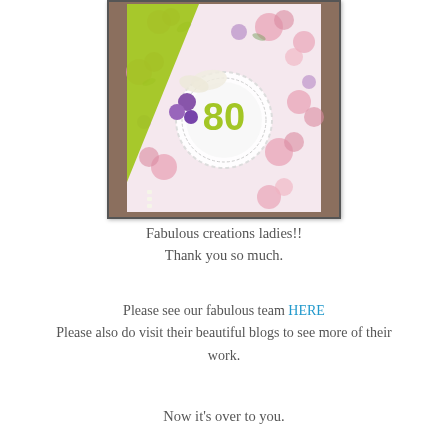[Figure (photo): A handmade birthday card with floral pink rose pattern paper, a green diagonal stripe, purple flower embellishments, a white lace doily, and a circular badge showing the number 80 in green on white background.]
Fabulous creations ladies!!
Thank you so much.
Please see our fabulous team HERE
Please also do visit their beautiful blogs to see more of their work.
Now it's over to you.